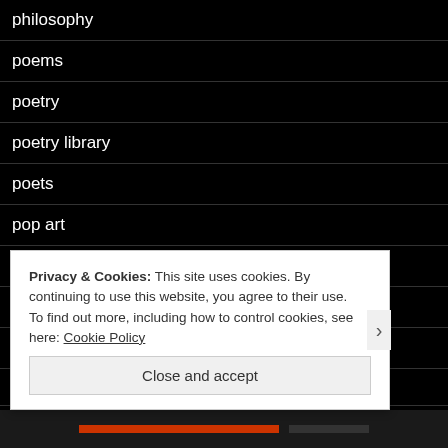philosophy
poems
poetry
poetry library
poets
pop art
post punk
pothi
Queen Padmé Amidala
Privacy & Cookies: This site uses cookies. By continuing to use this website, you agree to their use. To find out more, including how to control cookies, see here: Cookie Policy
Close and accept